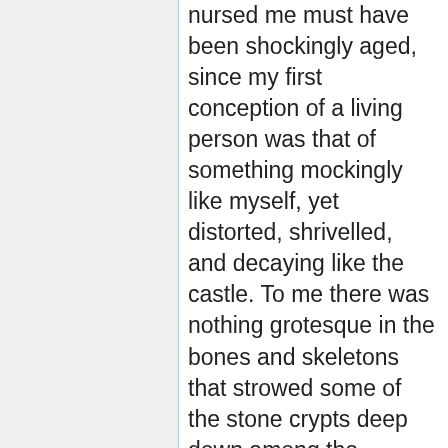nursed me must have been shockingly aged, since my first conception of a living person was that of something mockingly like myself, yet distorted, shrivelled, and decaying like the castle. To me there was nothing grotesque in the bones and skeletons that strowed some of the stone crypts deep down among the foundations. I fantastically associated these things with every-day events, and thought them more natural than the coloured pictures of living beings which I found in many of the mouldy books. For my earliest friend